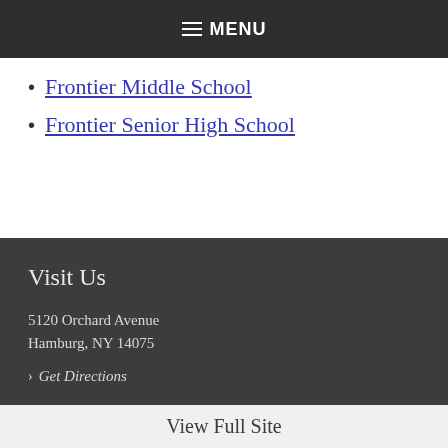MENU
Frontier Middle School
Frontier Senior High School
Visit Us
5120 Orchard Avenue
Hamburg, NY 14075
> Get Directions
View Full Site